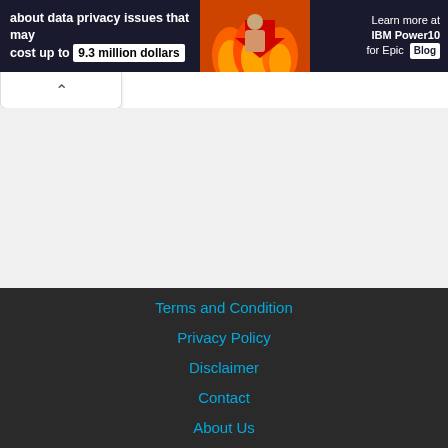[Figure (screenshot): Banner advertisement about data privacy issues costing up to 9.3 million dollars, with IBM Power10 for Epic Blog branding on the right and a fire/money graphic in the center]
← Previous Job
Next Job →
Terms and Condition
Privacy Policy
Disclaimer
Contact
About Us